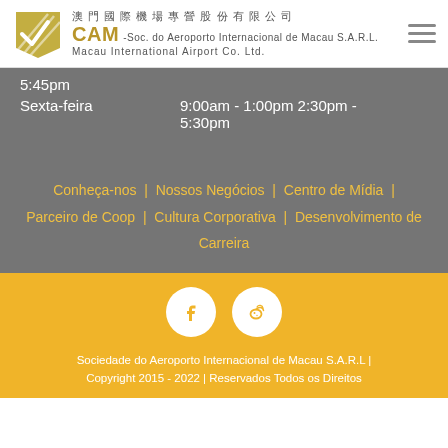澳門國際機場專營股份有限公司 CAM -Soc. do Aeroporto Internacional de Macau S.A.R.L. Macau International Airport Co. Ltd.
5:45pm
Sexta-feira   9:00am - 1:00pm 2:30pm - 5:30pm
Conheça-nos  |  Nossos Negócios  |  Centro de Mídia  |  Parceiro de Coop  |  Cultura Corporativa  |  Desenvolvimento de Carreira
[Figure (illustration): Facebook and Weibo social media icons as white circles on yellow background]
Sociedade do Aeroporto Internacional de Macau S.A.R.L | Copyright 2015 - 2022 | Reservados Todos os Direitos